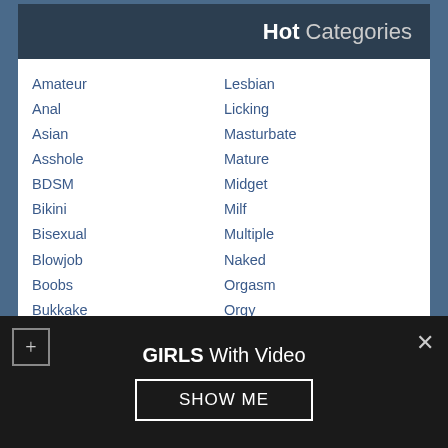Hot Categories
Amateur
Anal
Asian
Asshole
BDSM
Bikini
Bisexual
Blowjob
Boobs
Bukkake
Busty
Butt
Chubby
Clitoris
Cumshot
Deep
Deepthroat
Dick
Dildo
Domination
Erotic
Lesbian
Licking
Masturbate
Mature
Midget
Milf
Multiple
Naked
Orgasm
Orgy
Other
Pantyhose
Penetration
Pissing
Porno
Pornostar
Pussy
Redhead
Sex position
Shaved
Shemale
GIRLS With Video
SHOW ME